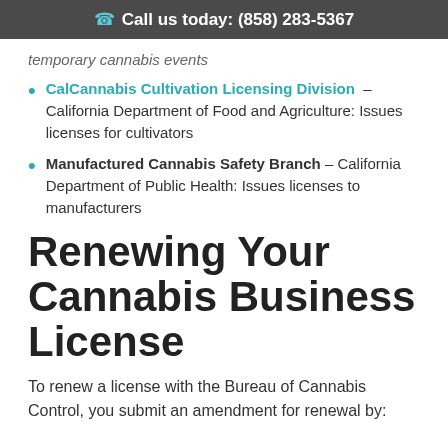Call us today: (858) 283-5367
temporary cannabis events
CalCannabis Cultivation Licensing Division – California Department of Food and Agriculture: Issues licenses for cultivators
Manufactured Cannabis Safety Branch – California Department of Public Health: Issues licenses to manufacturers
Renewing Your Cannabis Business License
To renew a license with the Bureau of Cannabis Control, you submit an amendment for renewal by: